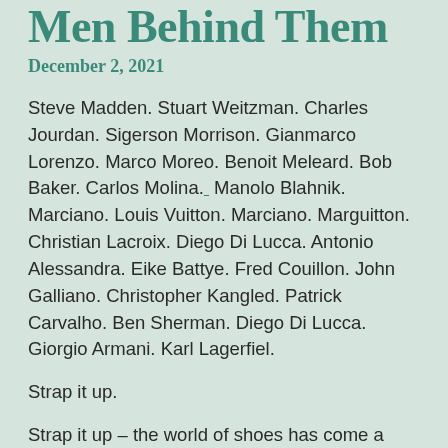Men Behind Them
December 2, 2021
Steve Madden. Stuart Weitzman. Charles Jourdan. Sigerson Morrison. Gianmarco Lorenzo. Marco Moreo. Benoit Meleard. Bob Baker. Carlos Molina.                Manolo Blahnik. Marciano. Louis Vuitton. Marciano. Marguitton. Christian Lacroix. Diego Di Lucca. Antonio Alessandra. Eike Battye. Fred Couillon. John Galliano. Christopher Kangled. Patrick Carvalho. Ben Sherman. Diego Di Lucca. Giorgio Armani. Karl Lagerfiel.
Strap it up.
Strap it up – the world of shoes has come a long way since the days of boot-cut and boring. Well, we can